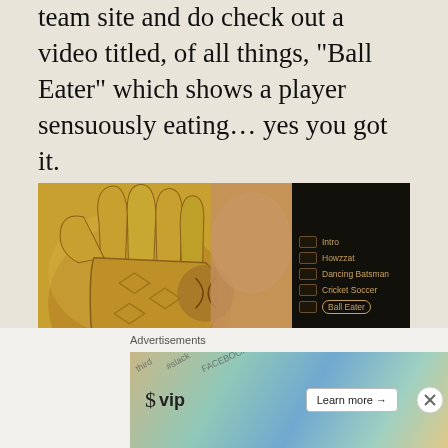team site and do check out a video titled, of all things, “Ball Eater” which shows a player sensuously eating… yes you got it.
[Figure (screenshot): Screenshot of a cricket team website showing a golden cricket glove holding a ball on the left side, and a video menu on the right with options: Intro, Howzzat, Dancing Batsman, Cricket Soccer, Ball Eater (highlighted with oval)]
And how could I forget the mascot Hoog-Lee and the theme song “Korbo Lorbo
Advertisements
[Figure (screenshot): WordPress VIP advertisement banner with colorful background showing social media icons and a Learn more button]